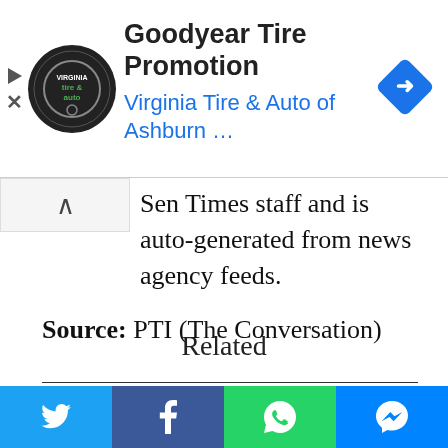[Figure (other): Goodyear Tire Promotion advertisement banner for Virginia Tire & Auto of Ashburn with logo and navigation icon]
Sen Times staff and is auto-generated from news agency feeds.
Source: PTI (The Conversation)
Related
[Figure (photo): Partial photo of related article, showing what appears to be paper or documents with a blue object]
[Figure (other): Social share bar with Twitter, Facebook, WhatsApp, and Messenger buttons]